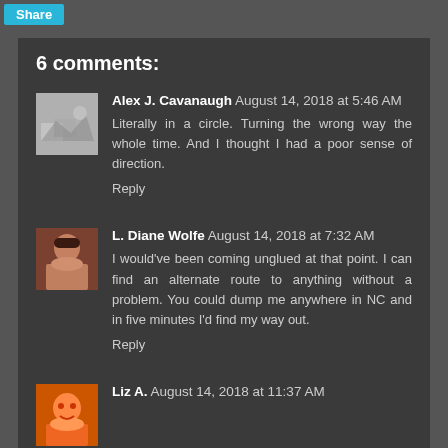Share
6 comments:
Alex J. Cavanaugh August 14, 2018 at 5:46 AM
Literally in a circle. Turning the wrong way the whole time. And I thought I had a poor sense of direction.
Reply
L. Diane Wolfe August 14, 2018 at 7:32 AM
I would've been coming unglued at that point. I can find an alternate route to anything without a problem. You could dump me anywhere in NC and in five minutes I'd find my way out.
Reply
Liz A. August 14, 2018 at 11:37 AM